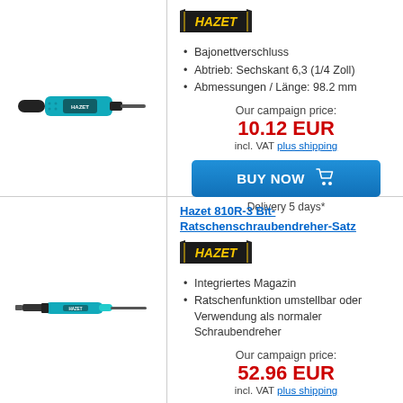[Figure (photo): Hazet screwdriver tool with blue/black handle, compact size]
[Figure (logo): HAZET logo - yellow text on dark background with stylized border]
Bajonettverschluss
Abtrieb: Sechskant 6,3 (1/4 Zoll)
Abmessungen / Länge: 98.2 mm
Our campaign price:
10.12 EUR
incl. VAT plus shipping
BUY NOW
Delivery 5 days*
Hazet 810R-3 Bit-Ratschenschraubendreher-Satz
[Figure (photo): Hazet bit ratchet screwdriver set, long tool with blue handle and bits]
[Figure (logo): HAZET logo - yellow text on dark background with stylized border]
Integriertes Magazin
Ratschenfunktion umstellbar oder Verwendung als normaler Schraubendreher
Our campaign price:
52.96 EUR
incl. VAT plus shipping
BUY NOW